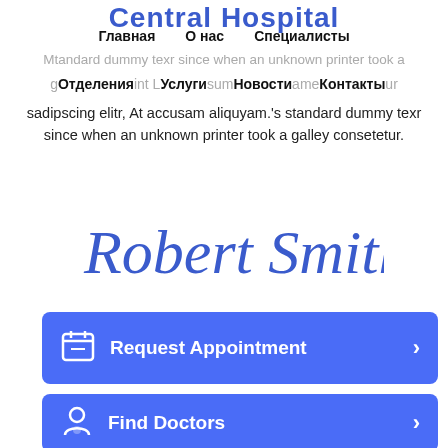Central Hospital
Главная   О нас   Специалисты
Mtandard dummy texr since when an unknown printer took a galley...point Lorem ipsum ame...ur
Отделения  Услуги  Новости  Контакты
sadipscing elitr, At accusam aliquyam.'s standard dummy texr since when an unknown printer took a galley consetetur.
[Figure (illustration): Cursive signature reading 'Robert Smith.' in blue ink]
[Figure (screenshot): Blue button: Request Appointment with calendar icon and right arrow]
[Figure (screenshot): Blue button: Find Doctors with doctor icon and right arrow]